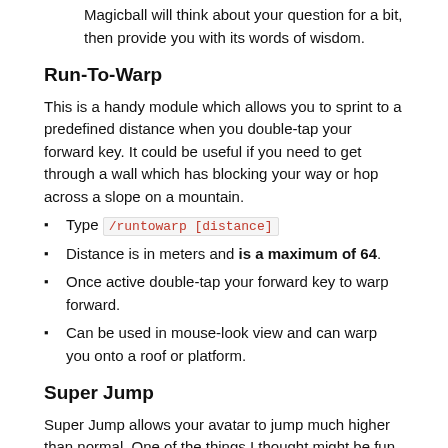Magicball will think about your question for a bit, then provide you with its words of wisdom.
Run-To-Warp
This is a handy module which allows you to sprint to a predefined distance when you double-tap your forward key. It could be useful if you need to get through a wall which has blocking your way or hop across a slope on a mountain.
Type /runtowarp [distance]
Distance is in meters and is a maximum of 64.
Once active double-tap your forward key to warp forward.
Can be used in mouse-look view and can warp you onto a roof or platform.
Super Jump
Super Jump allows your avatar to jump much higher than normal. One of the things I thought might be fun to do while outdoors is run up to a Sl...